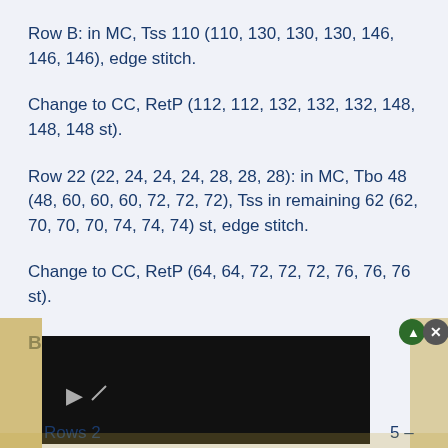Row B: in MC, Tss 110 (110, 130, 130, 130, 146, 146, 146), edge stitch.
Change to CC, RetP (112, 112, 132, 132, 132, 148, 148, 148 st).
Row 22 (22, 24, 24, 24, 28, 28, 28): in MC, Tbo 48 (48, 60, 60, 60, 72, 72, 72), Tss in remaining 62 (62, 70, 70, 70, 74, 74, 74) st, edge stitch.
Change to CC, RetP (64, 64, 72, 72, 72, 76, 76, 76 st).
Body Back
Rows 2[...] 5 –